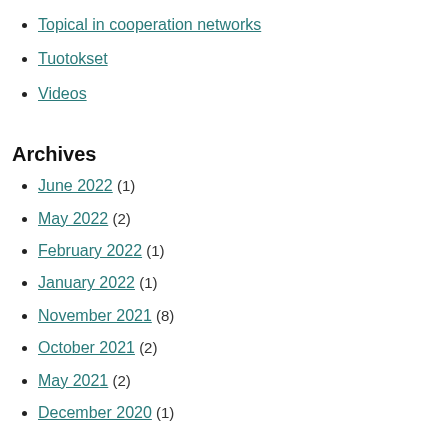Topical in cooperation networks
Tuotokset
Videos
Archives
June 2022 (1)
May 2022 (2)
February 2022 (1)
January 2022 (1)
November 2021 (8)
October 2021 (2)
May 2021 (2)
December 2020 (1)